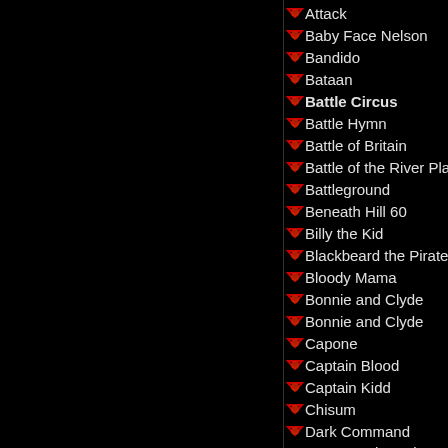Attack
Baby Face Nelson
Bandido
Bataan
Battle Circus
Battle Hymn
Battle of Britain
Battle of the River Plate
Battleground
Beneath Hill 60
Billy the Kid
Blackbeard the Pirate
Bloody Mama
Bonnie and Clyde
Bonnie and Clyde
Capone
Captain Blood
Captain Kidd
Chisum
Dark Command
Davy Crockett King of the Wild Frontier
Destination Tokyo
Dillinger